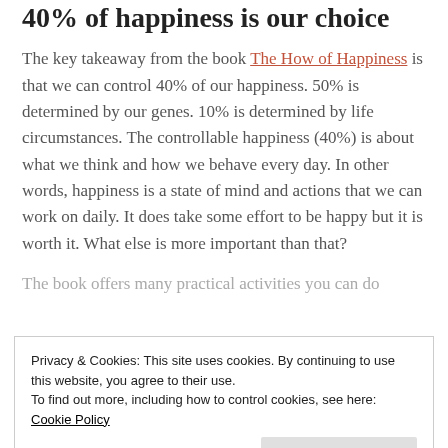40% of happiness is our choice
The key takeaway from the book The How of Happiness is that we can control 40% of our happiness. 50% is determined by our genes. 10% is determined by life circumstances. The controllable happiness (40%) is about what we think and how we behave every day. In other words, happiness is a state of mind and actions that we can work on daily. It does take some effort to be happy but it is worth it. What else is more important than that?
The book offers many practical activities you can do
Privacy & Cookies: This site uses cookies. By continuing to use this website, you agree to their use. To find out more, including how to control cookies, see here: Cookie Policy
habits suggested in the book. For example, I exercise